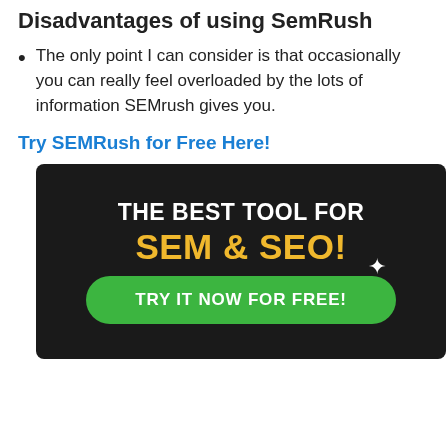Disadvantages of using SemRush
The only point I can consider is that occasionally you can really feel overloaded by the lots of information SEMrush gives you.
Try SEMRush for Free Here!
[Figure (infographic): Dark background advertisement banner reading 'THE BEST TOOL FOR SEM & SEO!' with a green button 'TRY IT NOW FOR FREE!' and a sparkle icon.]